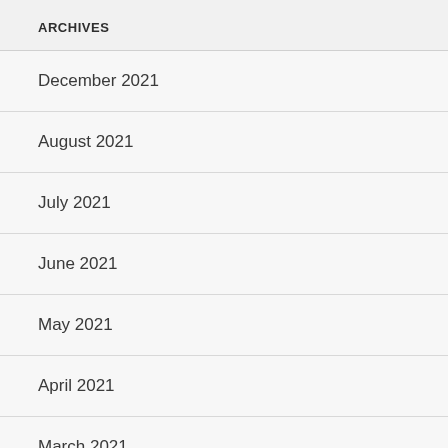ARCHIVES
December 2021
August 2021
July 2021
June 2021
May 2021
April 2021
March 2021